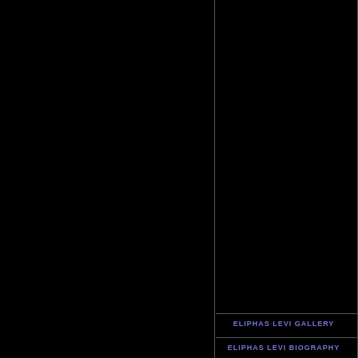Events
ELIPHAS LEVI GALLERY
ELIPHAS LEVI BIOGRAPHY